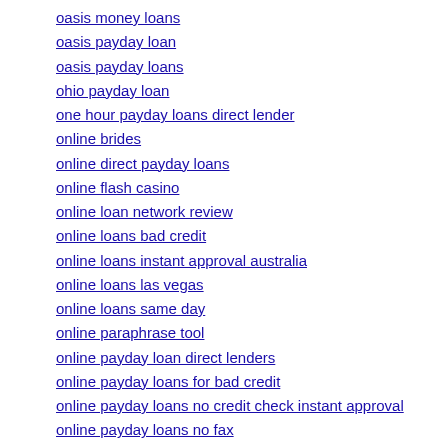oasis money loans
oasis payday loan
oasis payday loans
ohio payday loan
one hour payday loans direct lender
online brides
online direct payday loans
online flash casino
online loan network review
online loans bad credit
online loans instant approval australia
online loans las vegas
online loans same day
online paraphrase tool
online payday loan direct lenders
online payday loans for bad credit
online payday loans no credit check instant approval
online payday loans no fax
online text spinner